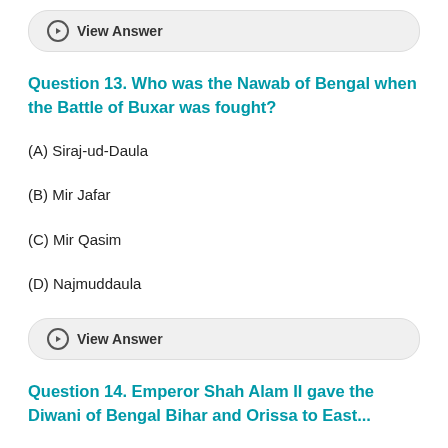[Figure (other): View Answer button - rounded rectangle button with arrow icon]
Question 13. Who was the Nawab of Bengal when the Battle of Buxar was fought?
(A) Siraj-ud-Daula
(B) Mir Jafar
(C) Mir Qasim
(D) Najmuddaula
[Figure (other): View Answer button - rounded rectangle button with arrow icon]
Question 14. Emperor Shah Alam II gave the Diwani of Bengal Bihar and Orissa to East...